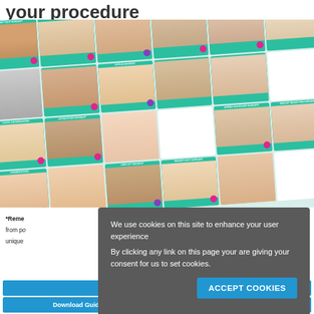your procedure
[Figure (photo): Grid of cosmetic surgery guide booklet covers showing various procedures including tummy tuck, rhinoplasty, liposuction, eyelid surgery, facial rejuvenation, arm lift, mommy makeover, male breast reduction, excess skin reduction, and breast reduction surgery, displayed at an angle]
We use cookies on this site to enhance your user experience
By clicking any link on this page your are giving your consent for us to set cookies.
[Figure (screenshot): ACCEPT COOKIES button in blue]
*Reme from po unique
Download Guides
Enquire by Email